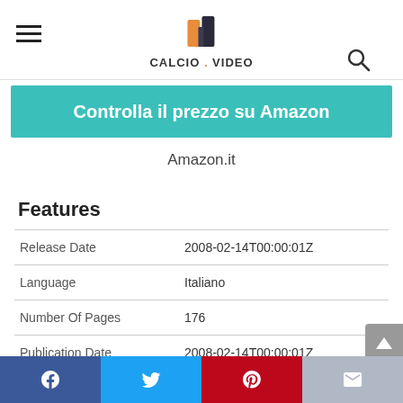CALCIO.VIDEO
Controlla il prezzo su Amazon
Amazon.it
Features
|  |  |
| --- | --- |
| Release Date | 2008-02-14T00:00:01Z |
| Language | Italiano |
| Number Of Pages | 176 |
| Publication Date | 2008-02-14T00:00:01Z |
Facebook | Twitter | Pinterest | Email